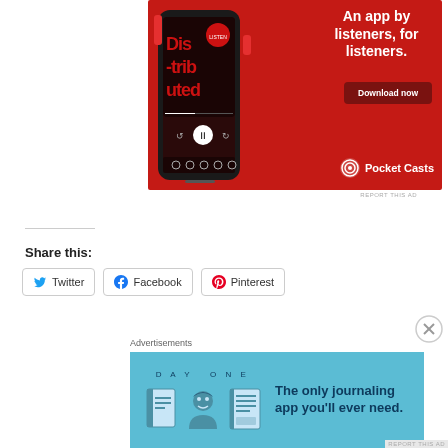[Figure (photo): Pocket Casts advertisement: red background with smartphone showing 'Distributed' podcast app, text 'An app by listeners, for listeners.' with 'Download now' button and Pocket Casts logo]
REPORT THIS AD
Share this:
Twitter
Facebook
Pinterest
Advertisements
[Figure (photo): Day One journaling app advertisement: blue background with 'DAY ONE' text, three illustrated icons, and text 'The only journaling app you'll ever need.']